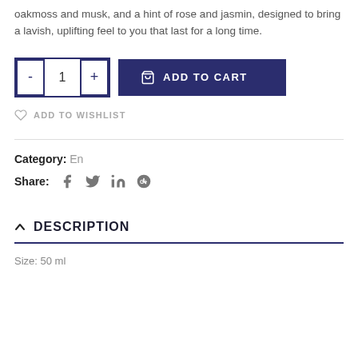oakmoss and musk, and a hint of rose and jasmin, designed to bring a lavish, uplifting feel to you that last for a long time.
[Figure (other): Quantity selector with minus and plus buttons showing value 1, and an Add to Cart button]
ADD TO WISHLIST
Category: En
Share: [Facebook] [Twitter] [LinkedIn] [Google+]
DESCRIPTION
Size: 50 ml